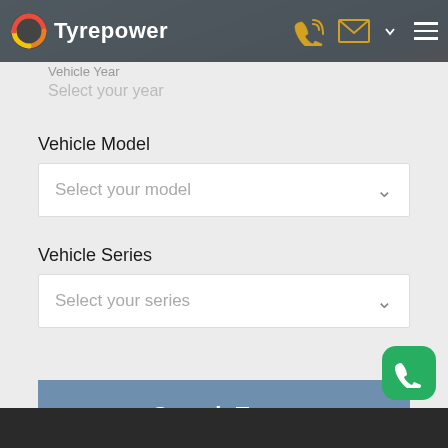[Figure (logo): Tyrepower logo with red/orange/yellow circular icon and white bold text 'Tyrepower' on dark header bar]
Vehicle Year
Select your year
Vehicle Model
Select your model
Vehicle Series
Select your series
Search Tyres
Search Wheels